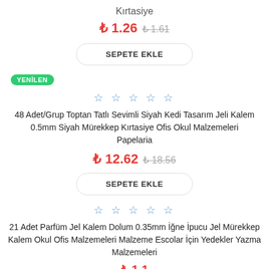Kırtasiye
₺ 1.26  ₺ 1.61 (strikethrough)
SEPETE EKLE
YENİLEN
☆ ☆ ☆ ☆ ☆
48 Adet/Grup Toptan Tatlı Sevimli Siyah Kedi Tasarım Jeli Kalem 0.5mm Siyah Mürekkep Kırtasiye Ofis Okul Malzemeleri Papelaria
₺ 12.62  ₺ 18.56 (strikethrough)
SEPETE EKLE
☆ ☆ ☆ ☆ ☆
21 Adet Parfüm Jel Kalem Dolum 0.35mm İğne İpucu Jel Mürekkep Kalem Okul Ofis Malzemeleri Malzeme Escolar İçin Yedekler Yazma Malzemeleri